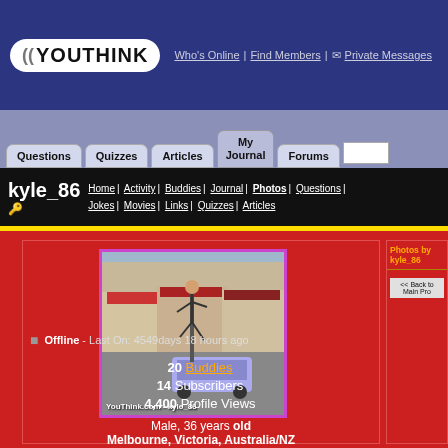YouThink | Who's Online | Find Members | Private Messages
Questions | Quizzes | Articles | My Journal | Forums
kyle_86 | Home | Activity | Buddies | Journal | Photos | Questions | Jokes | Movies | Links | Quizzes | Articles
[Figure (photo): A person doing a pole trick or parkour move on a street pole in front of shops, upside down. Watermark: YouThink.com - kyle_86]
Male, 36 years old
Melbourne, Victoria, Australia/NZ
Offline - Last On: 4549days 18 hours ago
20 Buddies
14 Subscribers
4,400 Profile Views
Photos by kyle_86
<< Back to Main Profile